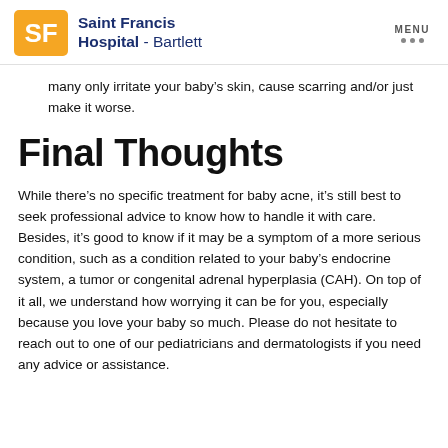Saint Francis Hospital - Bartlett
many only irritate your baby’s skin, cause scarring and/or just make it worse.
Final Thoughts
While there’s no specific treatment for baby acne, it’s still best to seek professional advice to know how to handle it with care. Besides, it’s good to know if it may be a symptom of a more serious condition, such as a condition related to your baby’s endocrine system, a tumor or congenital adrenal hyperplasia (CAH). On top of it all, we understand how worrying it can be for you, especially because you love your baby so much. Please do not hesitate to reach out to one of our pediatricians and dermatologists if you need any advice or assistance.